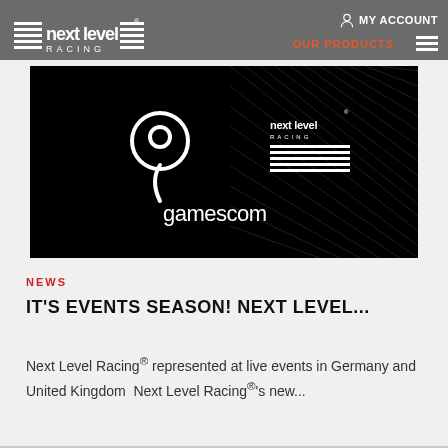Next Level Racing | MY ACCOUNT | OUR PRODUCTS
[Figure (screenshot): Gamescom and Next Level Racing logos on a dark black background with diagonal texture lines]
NEWS
IT'S EVENTS SEASON! NEXT LEVEL...
Next Level Racing® represented at live events in Germany and United Kingdom  Next Level Racing®'s new...